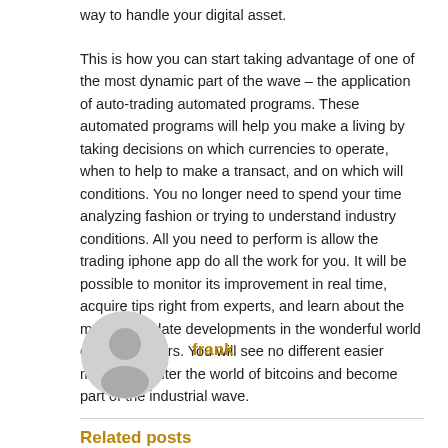way to handle your digital asset.
This is how you can start taking advantage of one of the most dynamic part of the wave – the application of auto-trading automated programs. These automated programs will help you make a living by taking decisions on which currencies to operate, when to help to make a transact, and on which will conditions. You no longer need to spend your time analyzing fashion or trying to understand industry conditions. All you need to perform is allow the trading iphone app do all the work for you. It will be possible to monitor its improvement in real time, acquire tips right from experts, and learn about the most up-to-date developments in the wonderful world of cryptosurfers. You will see no different easier method to enter the world of bitcoins and become part of the industrial wave.
[Figure (illustration): Generic user avatar icon in gray circle]
frank
Related posts